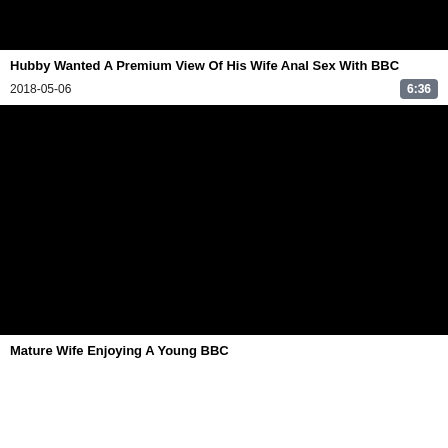[Figure (photo): Black video thumbnail at top of page]
Hubby Wanted A Premium View Of His Wife Anal Sex With BBC
2018-05-06
6:36
[Figure (photo): Black video thumbnail in middle of page]
Mature Wife Enjoying A Young BBC